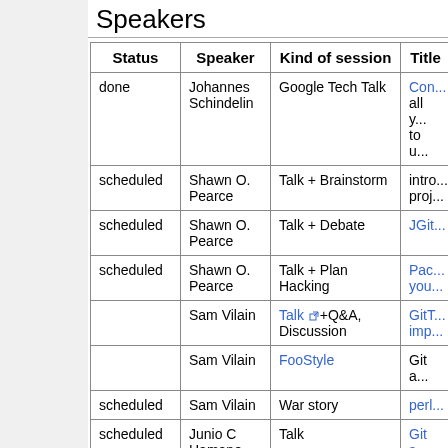Speakers
| Status | Speaker | Kind of session | Title |
| --- | --- | --- | --- |
| done | Johannes Schindelin | Google Tech Talk | Con... all y... to u... |
| scheduled | Shawn O. Pearce | Talk + Brainstorm | intro... proj... |
| scheduled | Shawn O. Pearce | Talk + Debate | JGit... |
| scheduled | Shawn O. Pearce | Talk + Plan Hacking | Pac... you... |
|  | Sam Vilain | Talk [link]+Q&A, Discussion | GitT... imp... |
|  | Sam Vilain | FooStyle [link] | Git a... |
| scheduled | Sam Vilain | War story | perl... |
| scheduled | Junio C Hamano | Talk | Git s... Add... |